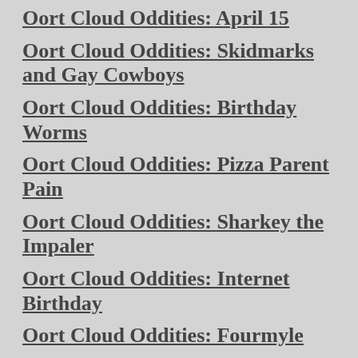Oort Cloud Oddities: April 15
Oort Cloud Oddities: Skidmarks and Gay Cowboys
Oort Cloud Oddities: Birthday Worms
Oort Cloud Oddities: Pizza Parent Pain
Oort Cloud Oddities: Sharkey the Impaler
Oort Cloud Oddities: Internet Birthday
Oort Cloud Oddities: Fourmyle